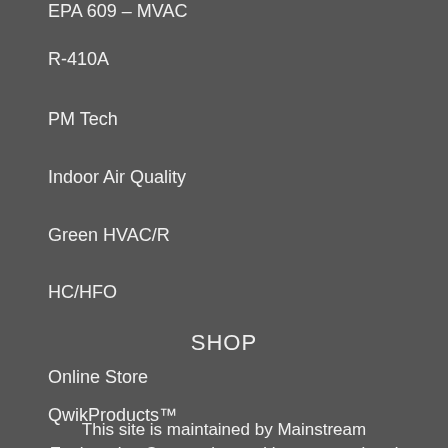EPA 609 – MVAC
R-410A
PM Tech
Indoor Air Quality
Green HVAC/R
HC/HFO
SHOP
Online Store
QwikProducts™
This site is maintained by Mainstream Engineering Corporation and is not associated with the US